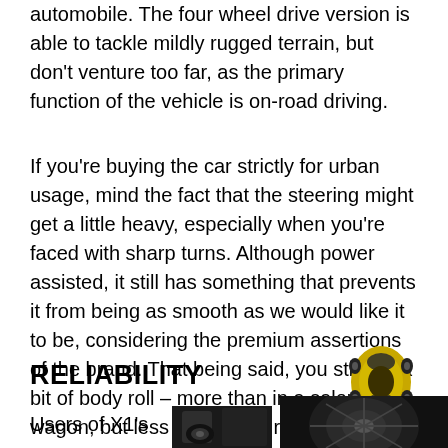automobile. The four wheel drive version is able to tackle mildly rugged terrain, but don't venture too far, as the primary function of the vehicle is on-road driving.
If you're buying the car strictly for urban usage, mind the fact that the steering might get a little heavy, especially when you're faced with sharp turns. Although power assisted, it still has something that prevents it from being as smooth as we would like it to be, considering the premium assertions of the brand. That being said, you still get a bit of body roll – more than in a salon or a wagon, but less than some rivals, such as the Tiguan.
RELIABILITY
[Figure (photo): Top-down view of a yellow sports car]
Users of X1's
[Figure (photo): Close-up photo of a car wheel or interior detail, dark tones]
[Figure (photo): Close-up photo of car wheel/rim, dark tones]